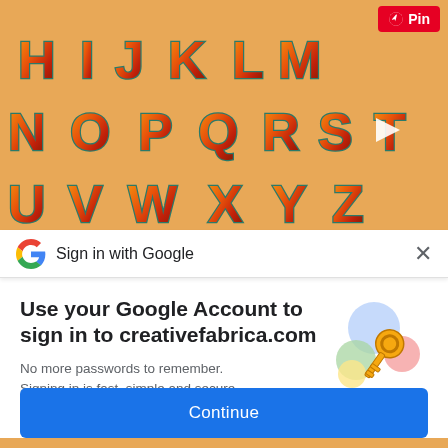[Figure (screenshot): Decorative alphabet letters H I J K L M N O P Q R S T U V W X Y Z rendered in colorful 3D style on a wooden background, with a Pinterest Pin button in top right corner and a play button on the right side.]
Sign in with Google
Use your Google Account to sign in to creativefabrica.com
No more passwords to remember. Signing in is fast, simple and secure.
[Figure (illustration): Google sign-in illustration showing a golden key with colored circles (blue, green, red, yellow) in the background.]
Continue